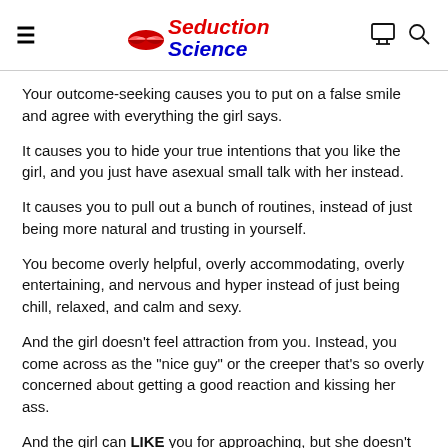Seduction Science
Your outcome-seeking causes you to put on a false smile and agree with everything the girl says.
It causes you to hide your true intentions that you like the girl, and you just have asexual small talk with her instead.
It causes you to pull out a bunch of routines, instead of just being more natural and trusting in yourself.
You become overly helpful, overly accommodating, overly entertaining, and nervous and hyper instead of just being chill, relaxed, and calm and sexy.
And the girl doesn't feel attraction from you. Instead, you come across as the "nice guy" or the creeper that's so overly concerned about getting a good reaction and kissing her ass.
And the girl can LIKE you for approaching, but she doesn't get that gut-level emotional sexual attraction from you. She doesn't experience